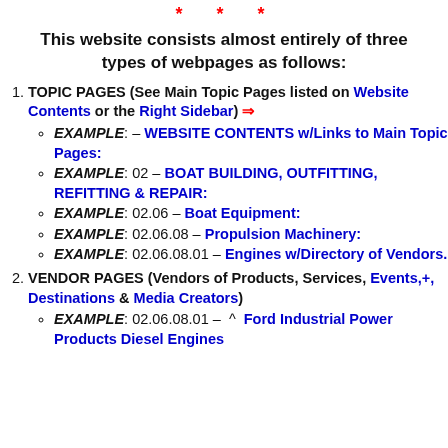* * *
This website consists almost entirely of three types of webpages as follows:
TOPIC PAGES (See Main Topic Pages listed on Website Contents or the Right Sidebar) ⇒
EXAMPLE: – WEBSITE CONTENTS w/Links to Main Topic Pages:
EXAMPLE: 02 – BOAT BUILDING, OUTFITTING, REFITTING & REPAIR:
EXAMPLE: 02.06 – Boat Equipment:
EXAMPLE: 02.06.08 – Propulsion Machinery:
EXAMPLE: 02.06.08.01 – Engines w/Directory of Vendors.
VENDOR PAGES (Vendors of Products, Services, Events,+, Destinations & Media Creators)
EXAMPLE: 02.06.08.01 – ^ Ford Industrial Power Products Diesel Engines